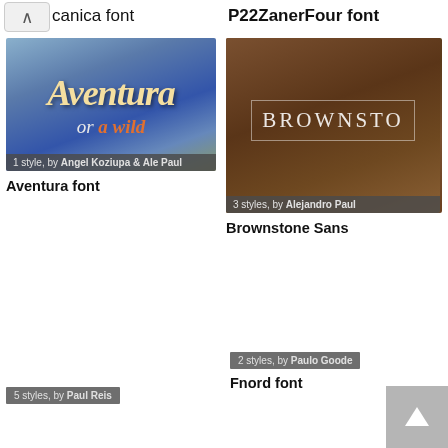[Figure (other): Back/up navigation button with caret icon]
canica font
P22ZanerFour font
[Figure (photo): Aventura font preview image showing stylized italic text on blue background, with 'or a wild' script text overlay. Badge: 1 style, by Angel Koziupa & Ale Paul]
Aventura font
[Figure (photo): Brownstone Sans font preview showing decorative white text on dark wood background with ornamental borders. Badge: 3 styles, by Alejandro Paul]
Brownstone Sans
[Figure (photo): Fnord font preview, gray placeholder image. Badge: 2 styles, by Paulo Goode]
Fnord font
5 styles, by Paul Reis
[Figure (other): Scroll to top button with upward arrow icon]